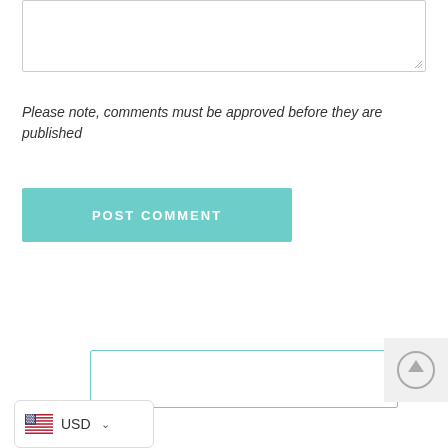[Figure (screenshot): Text area input box with resize handle in bottom-right corner]
Please note, comments must be approved before they are published
[Figure (screenshot): POST COMMENT button in teal/mint color with white uppercase text]
[Figure (screenshot): Search input box with teal border]
[Figure (screenshot): Scroll to top button with circular arrow icon on gray background]
[Figure (screenshot): Currency selector showing US flag and USD with dropdown chevron]